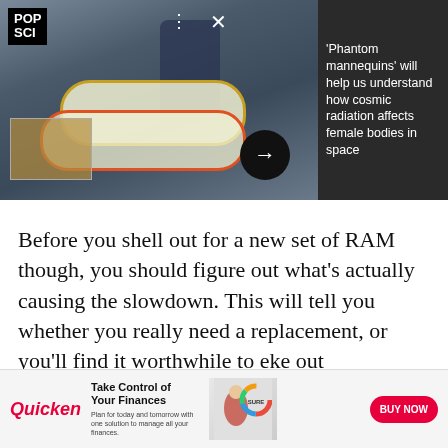[Figure (photo): Hero image showing people working with white mannequin torsos in what appears to be a spacecraft or testing facility, with a dark overlay panel on the right showing the article headline. POP SCI logo visible top left.]
'Phantom mannequins' will help us understand how cosmic radiation affects female bodies in space
Before you shell out for a new set of RAM though, you should figure out what's actually causing the slowdown. This will tell you whether you really need a replacement, or you'll find it worthwhile to eke out
[Figure (infographic): Quicken advertisement banner: Quicken logo in red, headline 'Take Control of Your Finances', subtext 'Plan for today and tomorrow with one solution to manage all your finances.', image of woman at laptop with donut chart, red BUY NOW button.]